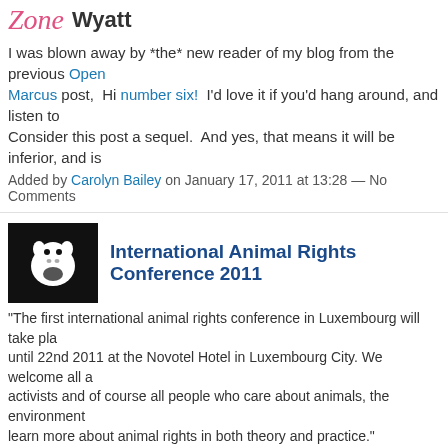Zone  Wyatt
I was blown away by *the* new reader of my blog from the previous Open Marcus post,  Hi number six!  I'd love it if you'd hang around, and listen to Consider this post a sequel.  And yes, that means it will be inferior, and is
Added by Carolyn Bailey on January 17, 2011 at 13:28 — No Comments
International Animal Rights Conference 2011
"The first international animal rights conference in Luxembourg will take pla until 22nd 2011 at the Novotel Hotel in Luxembourg City. We welcome all a activists and of course all people who care about animals, the environment learn more about animal rights in both theory and practice."
HIGHLIGHTS
viewpoints on animal liberation / animal…
Continue
Added by Just a Girl on January 17, 2011 at 10:30 — No Comments
Some Good News in Honiara!!!!
Blood Dolphins Success in the Solomons.......
http://www.youtube.com/watch?v=TvbKHe...
Sign in to chat!